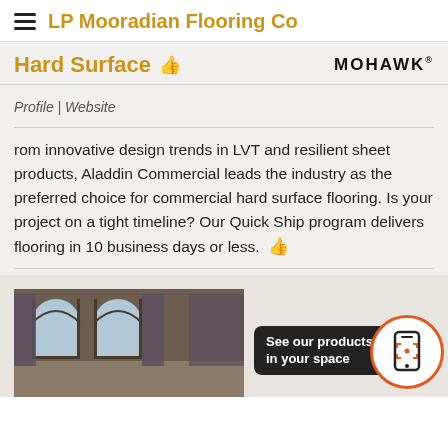LP Mooradian Flooring Co
Hard Surface
Profile | Website
rom innovative design trends in LVT and resilient sheet products, Aladdin Commercial leads the industry as the preferred choice for commercial hard surface flooring. Is your project on a tight timeline? Our Quick Ship program delivers flooring in 10 business days or less.
[Figure (photo): Interior room with arched windows and curtains, partial view at bottom of page]
See our products in your space